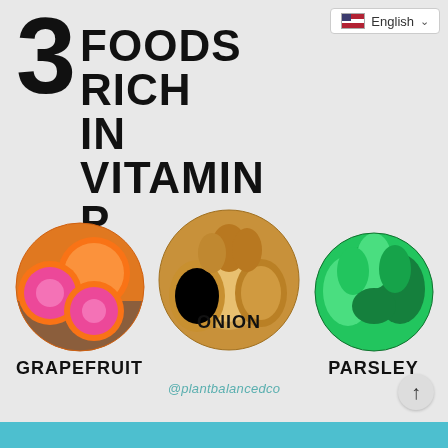3 FOODS RICH IN VITAMIN P
[Figure (infographic): Infographic showing 3 foods rich in Vitamin P: Grapefruit (left circle with orange/pink grapefruit photo), Onion (center circle with onions photo), Parsley (right circle with green parsley photo)]
GRAPEFRUIT
ONION
PARSLEY
@plantbalancedco